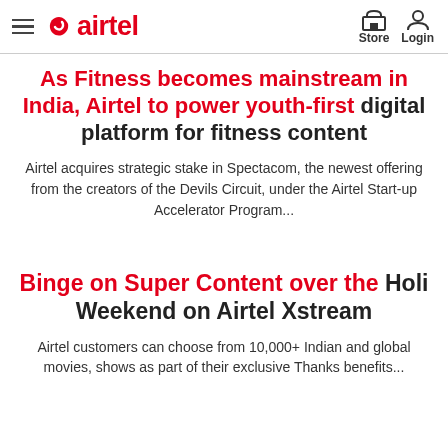Airtel — Store | Login
As Fitness becomes mainstream in India, Airtel to power youth-first digital platform for fitness content
Airtel acquires strategic stake in Spectacom, the newest offering from the creators of the Devils Circuit, under the Airtel Start-up Accelerator Program...
Binge on Super Content over the Holi Weekend on Airtel Xstream
Airtel customers can choose from 10,000+ Indian and global movies, shows as part of their exclusive Thanks benefits...